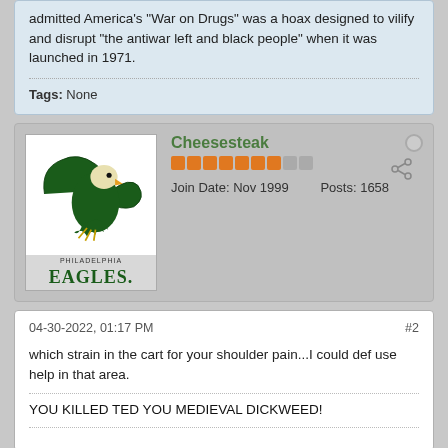admitted America's "War on Drugs" was a hoax designed to vilify and disrupt "the antiwar left and black people" when it was launched in 1971.
Tags: None
Cheesesteak
Join Date: Nov 1999    Posts: 1658
04-30-2022, 01:17 PM  #2
which strain in the cart for your shoulder pain...I could def use help in that area.
YOU KILLED TED YOU MEDIEVAL DICKWEED!